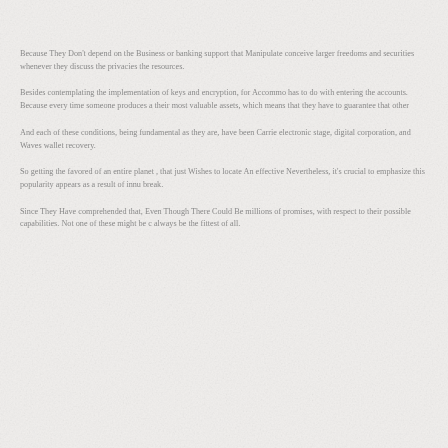Because They Don't depend on the Business or banking support that Manipulate conceive larger freedoms and securities whenever they discuss the privacies the resources.
Besides contemplating the implementation of keys and encryption, for Accommo has to do with entering the accounts. Because every time someone produces a their most valuable assets, which means that they have to guarantee that other
And each of these conditions, being fundamental as they are, have been Carrie electronic stage, digital corporation, and Waves wallet recovery.
So getting the favored of an entire planet , that just Wishes to locate An effective Nevertheless, it's crucial to emphasize this popularity appears as a result of inn break.
Since They Have comprehended that, Even Though There Could Be millions of promises, with respect to their possible capabilities. Not one of these might be c always be the fittest of all.